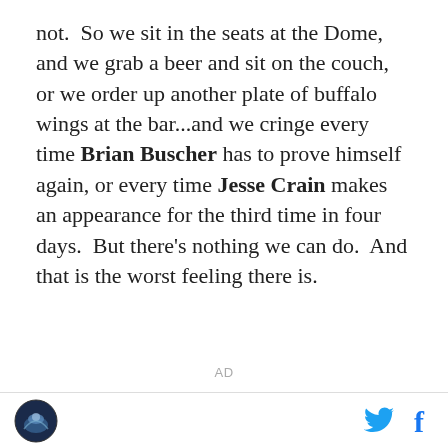not.  So we sit in the seats at the Dome, and we grab a beer and sit on the couch, or we order up another plate of buffalo wings at the bar...and we cringe every time Brian Buscher has to prove himself again, or every time Jesse Crain makes an appearance for the third time in four days.  But there's nothing we can do.  And that is the worst feeling there is.
AD
Logo | Twitter | Facebook